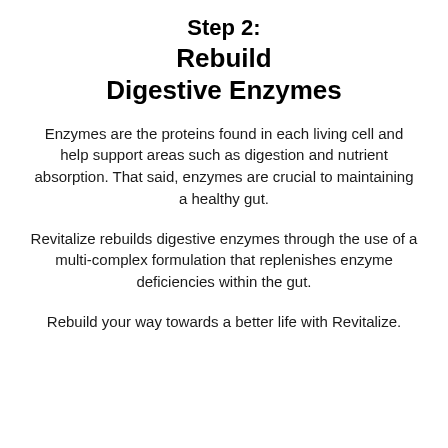Step 2: Rebuild Digestive Enzymes
Enzymes are the proteins found in each living cell and help support areas such as digestion and nutrient absorption. That said, enzymes are crucial to maintaining a healthy gut.
Revitalize rebuilds digestive enzymes through the use of a multi-complex formulation that replenishes enzyme deficiencies within the gut.
Rebuild your way towards a better life with Revitalize.